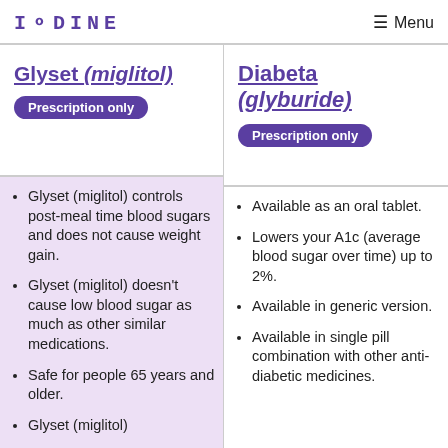IODINE  Menu
Glyset (miglitol) Prescription only
Diabeta (glyburide) Prescription only
Glyset (miglitol) controls post-meal time blood sugars and does not cause weight gain.
Glyset (miglitol) doesn't cause low blood sugar as much as other similar medications.
Safe for people 65 years and older.
Glyset (miglitol)
Available as an oral tablet.
Lowers your A1c (average blood sugar over time) up to 2%.
Available in generic version.
Available in single pill combination with other anti-diabetic medicines.